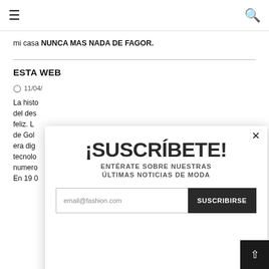☰ (menu) | 🔍 (search)
mi casa NUNCA MAS NADA DE FAGOR.
ESTA WEB
11/04/...
La histo del des feliz. L de Gol era dig tecnolo numero En 19 0
[Figure (other): Newsletter subscription modal popup with title '¡SUSCRÍBETE!' and subtitle 'ENTÉRATE SOBRE NUESTRAS ÚLTIMAS NOTICIAS DE MODA', an email input field with placeholder 'email@fashion.com', and a dark 'SUSCRIBIRSE' button. A close (×) button is in the top right.]